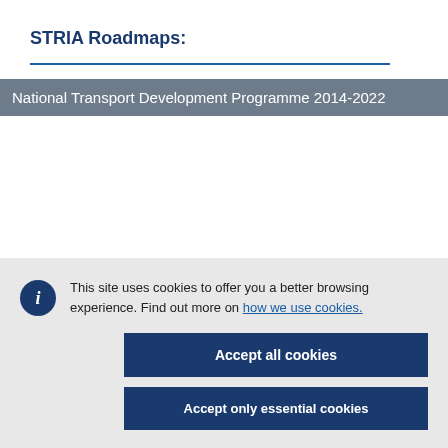STRIA Roadmaps:
National Transport Development Programme 2014-2022
This site uses cookies to offer you a better browsing experience. Find out more on how we use cookies.
Accept all cookies
Accept only essential cookies